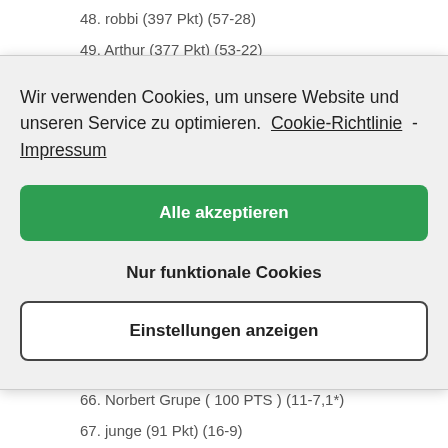48. robbi (397 Pkt) (57-28)
49. Arthur (377 Pkt) (53-22)
50. Alonso Quijano (286 Pkt) (33-6, 3*)
Wir verwenden Cookies, um unsere Website und unseren Service zu optimieren.  Cookie-Richtlinie  -  Impressum
Alle akzeptieren
Nur funktionale Cookies
Einstellungen anzeigen
64. Felix Sturm (100 Pkt) (10-13, 1*)
65. Champ (104 Pkt) (14-6)
66. Norbert Grupe ( 100 PTS ) (11-7,1*)
67. junge (91 Pkt) (16-9)